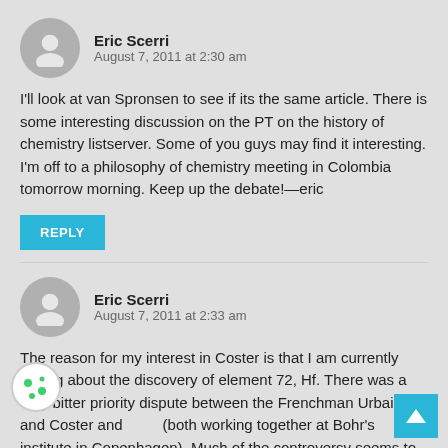Eric Scerri
August 7, 2011 at 2:30 am
I'll look at van Spronsen to see if its the same article. There is some interesting discussion on the PT on the history of chemistry listserver. Some of you guys may find it interesting. I'm off to a philosophy of chemistry meeting in Colombia tomorrow morning. Keep up the debate!—eric
REPLY
Eric Scerri
August 7, 2011 at 2:33 am
The reason for my interest in Coster is that I am currently writing about the discovery of element 72, Hf. There was a very bitter priority dispute between the Frenchman Urbain and Coster and (both working together at Bohr's institute in Copenhagen). Much of the controversy seems to be due to